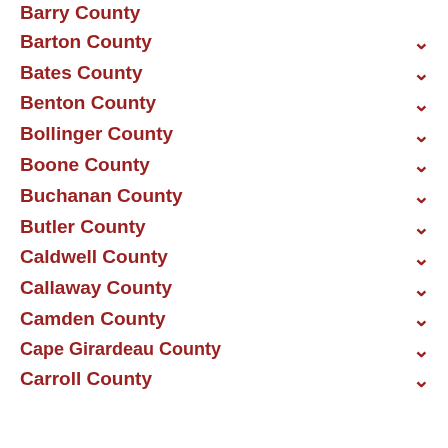Barry County
Barton County
Bates County
Benton County
Bollinger County
Boone County
Buchanan County
Butler County
Caldwell County
Callaway County
Camden County
Cape Girardeau County
Carroll County